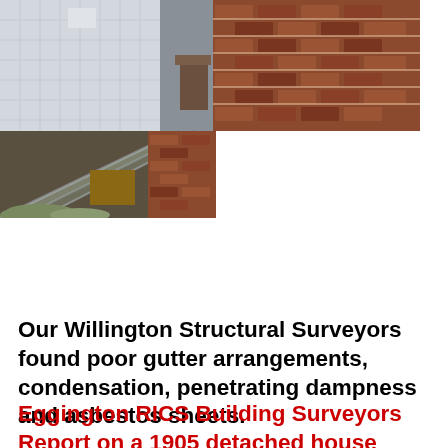[Figure (photo): Composite of three construction/survey photos: top-left shows an interior corner with grey paneling and textured wall; top-right shows close-up of old red brick wall; bottom-left shows a sloped glass/metal roof structure with weathered brick wall and insulation below.]
Our Willington Structural Surveyors found poor gutter arrangements, condensation, penetrating dampness and asbestos sheets.
Eggington RICS Building Surveyors Report on a 1905 detached house